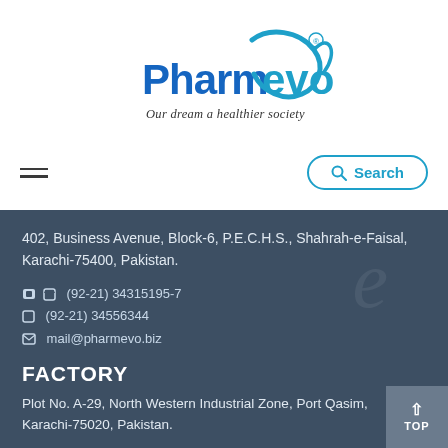[Figure (logo): PharmEvo logo with tagline 'Our dream a healthier society']
402, Business Avenue, Block-6, P.E.C.H.S., Shahrah-e-Faisal, Karachi-75400, Pakistan.
(92-21) 34315195-7
(92-21) 34556344
mail@pharmevo.biz
FACTORY
Plot No. A-29, North Western Industrial Zone, Port Qasim, Karachi-75020, Pakistan.